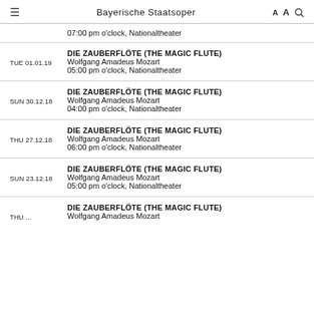Bayerische Staatsoper
07:00 pm o'clock, Nationaltheater
DIE ZAUBERFLÖTE (THE MAGIC FLUTE)
TUE 01.01.19 Wolfgang Amadeus Mozart
05:00 pm o'clock, Nationaltheater
DIE ZAUBERFLÖTE (THE MAGIC FLUTE)
SUN 30.12.18 Wolfgang Amadeus Mozart
04:00 pm o'clock, Nationaltheater
DIE ZAUBERFLÖTE (THE MAGIC FLUTE)
THU 27.12.18 Wolfgang Amadeus Mozart
06:00 pm o'clock, Nationaltheater
DIE ZAUBERFLÖTE (THE MAGIC FLUTE)
SUN 23.12.18 Wolfgang Amadeus Mozart
05:00 pm o'clock, Nationaltheater
DIE ZAUBERFLÖTE (THE MAGIC FLUTE)
THU ... Wolfgang Amadeus Mozart